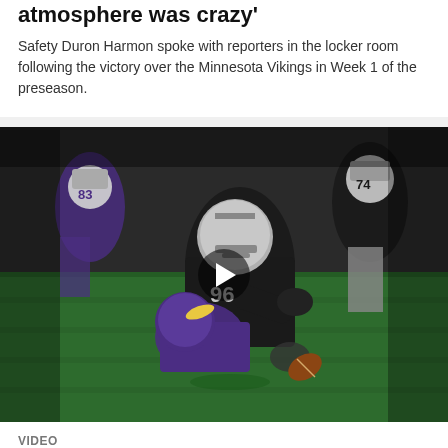atmosphere was crazy'
Safety Duron Harmon spoke with reporters in the locker room following the victory over the Minnesota Vikings in Week 1 of the preseason.
[Figure (photo): Football action shot showing a Las Vegas Raiders player (number 96) delivering a sack on a Minnesota Vikings player on a green turf field. A play video button overlay is visible in the center.]
VIDEO
Tashawn Bower delivers monster sack to force 4th down